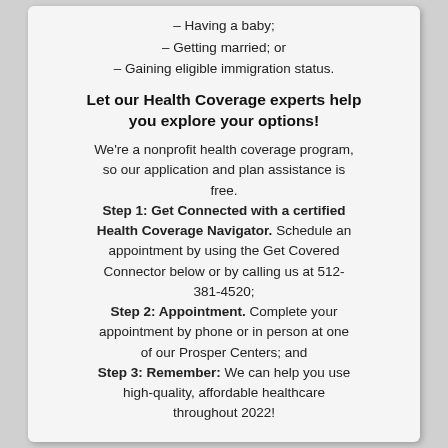– Having a baby;
– Getting married; or
– Gaining eligible immigration status.
Let our Health Coverage experts help you explore your options!
We're a nonprofit health coverage program, so our application and plan assistance is free. Step 1: Get Connected with a certified Health Coverage Navigator. Schedule an appointment by using the Get Covered Connector below or by calling us at 512-381-4520; Step 2: Appointment. Complete your appointment by phone or in person at one of our Prosper Centers; and Step 3: Remember: We can help you use high-quality, affordable healthcare throughout 2022!